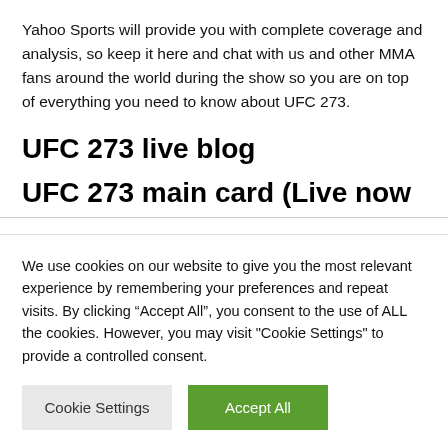Yahoo Sports will provide you with complete coverage and analysis, so keep it here and chat with us and other MMA fans around the world during the show so you are on top of everything you need to know about UFC 273.
UFC 273 live blog
UFC 273 main card (Live now
We use cookies on our website to give you the most relevant experience by remembering your preferences and repeat visits. By clicking “Accept All”, you consent to the use of ALL the cookies. However, you may visit "Cookie Settings" to provide a controlled consent.